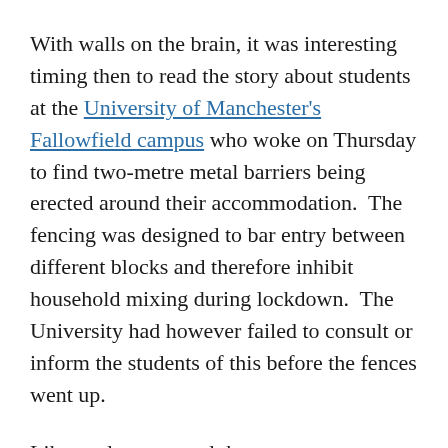With walls on the brain, it was interesting timing then to read the story about students at the University of Manchester's Fallowfield campus who woke on Thursday to find two-metre metal barriers being erected around their accommodation.  The fencing was designed to bar entry between different blocks and therefore inhibit household mixing during lockdown.  The University had however failed to consult or inform the students of this before the fences went up.
Like students around the country, Manchester students had been encouraged to come to University to study.  As is inevitable in close quarter accommodation, thousands of students